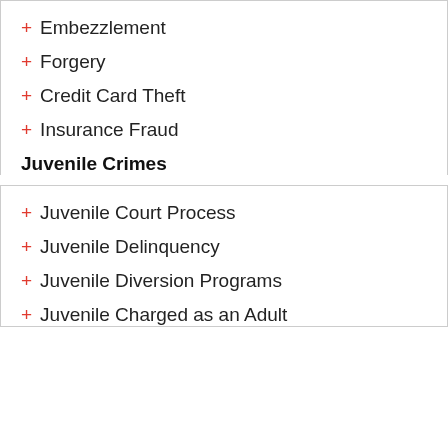+ Embezzlement
+ Forgery
+ Credit Card Theft
+ Insurance Fraud
Juvenile Crimes
+ Juvenile Court Process
+ Juvenile Delinquency
+ Juvenile Diversion Programs
+ Juvenile Charged as an Adult